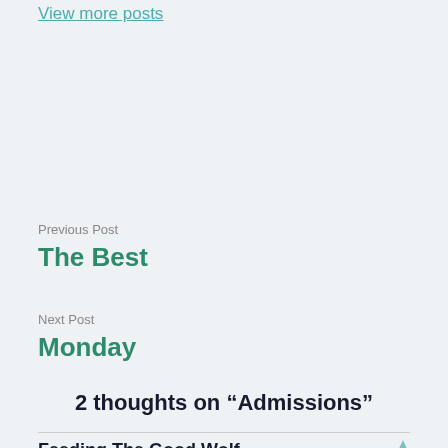View more posts
Previous Post
The Best
Next Post
Monday
2 thoughts on “Admissions”
Feeding The Good Wolf